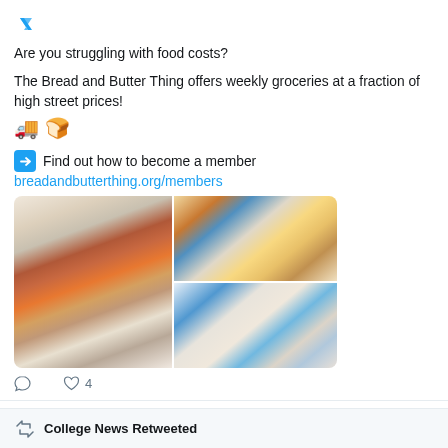[Figure (logo): Blue bird/logo icon top left]
Are you struggling with food costs?
The Bread and Butter Thing offers weekly groceries at a fraction of high street prices! 🚚🍞
➡ Find out how to become a member
breadandbutterthing.org/members
[Figure (photo): Three photos: left shows grocery bag with food, top right shows people handling groceries, bottom right shows people standing in front of a van with The Bread and Butter Thing branding]
♡ 4
College News Retweeted